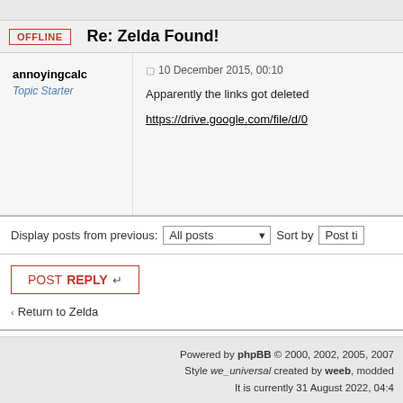OFFLINE
Re: Zelda Found!
annoyingcalc
Topic Starter
10 December 2015, 00:10
Apparently the links got deleted
https://drive.google.com/file/d/0
Display posts from previous: All posts Sort by Post ti
POST REPLY
Return to Zelda
WHO IS ONLINE
Users browsing this forum: No registered users and 1 guest
Powered by phpBB © 2000, 2002, 2005, 2007
Style we_universal created by weeb, modded
It is currently 31 August 2022, 04:4